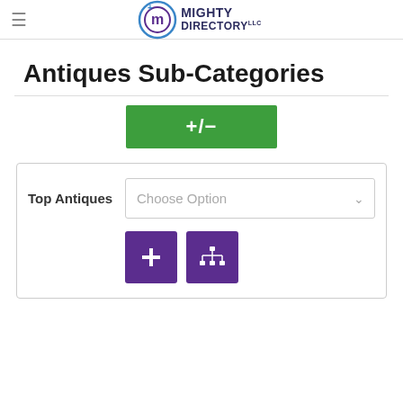Mighty Directory LLC
Antiques Sub-Categories
[Figure (other): Green button with +/- label]
[Figure (other): Form card with Top Antiques label, Choose Option dropdown, and two purple icon buttons (add and hierarchy/org-chart)]